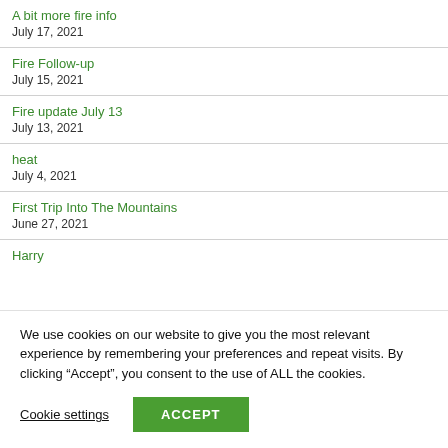A bit more fire info
July 17, 2021
Fire Follow-up
July 15, 2021
Fire update July 13
July 13, 2021
heat
July 4, 2021
First Trip Into The Mountains
June 27, 2021
Harry
We use cookies on our website to give you the most relevant experience by remembering your preferences and repeat visits. By clicking “Accept”, you consent to the use of ALL the cookies.
Cookie settings  ACCEPT